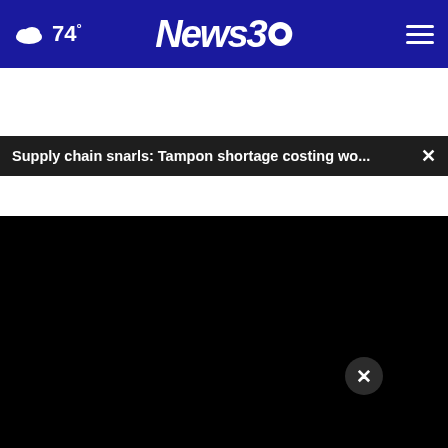74° News3 (navigation bar with hamburger menu)
Supply chain snarls: Tampon shortage costing wo...  ×
[Figure (screenshot): Black video player area (video not loaded / blacked out)]
[Figure (photo): Group of people in black shirts standing together, outdoor setting; advertisement for local veterans charity. ALL DONATIONS BENEFIT LOCAL VETERANS IN GEORGIA AND PHENIX CITY. DONATE NOW!]
Hom... ...s